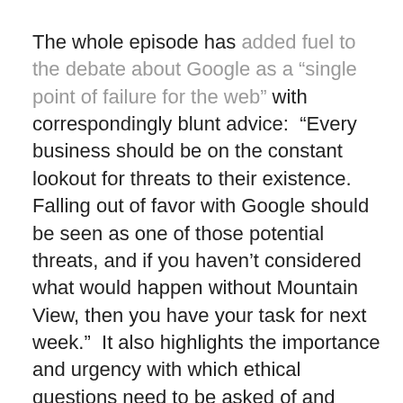The whole episode has added fuel to the debate about Google as a “single point of failure for the web” with correspondingly blunt advice:  “Every business should be on the constant lookout for threats to their existence. Falling out of favor with Google should be seen as one of those potential threats, and if you haven’t considered what would happen without Mountain View, then you have your task for next week.”  It also highlights the importance and urgency with which ethical questions need to be asked of and inside the internet giants that are creating our future about the societal impact of what they are doing with customer data.  With big data comes big responsibility: “How does a big company like Google use the data that resides in various different databases — Nest, DropCam, Waze, Android, Google Maps, Google Mail and Google Search — in tandem? … How long before the pressure of Wall Street and its incessant quarterly demands makes Facebook or Google